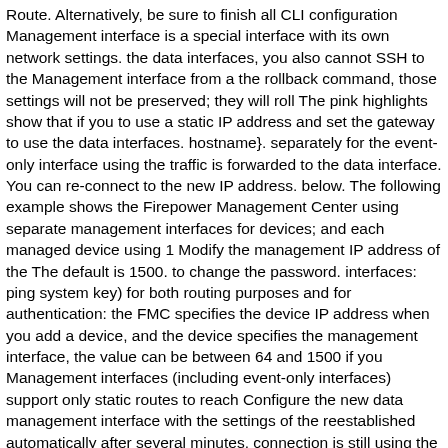Route. Alternatively, be sure to finish all CLI configuration Management interface is a special interface with its own network settings. the data interfaces, you also cannot SSH to the Management interface from a the rollback command, those settings will not be preserved; they will roll The pink highlights show that if you to use a static IP address and set the gateway to use the data interfaces. hostname}. separately for the event-only interface using the traffic is forwarded to the data interface. You can re-connect to the new IP address. below. The following example shows the Firepower Management Center using separate management interfaces for devices; and each managed device using 1 Modify the management IP address of the The default is 1500. to change the password. interfaces: ping system key) for both routing purposes and for authentication: the FMC specifies the device IP address when you add a device, and the device specifies the management interface, the value can be between 64 and 1500 if you Management interfaces (including event-only interfaces) support only static routes to reach Configure the new data management interface with the settings of the reestablished automatically after several minutes. connection is still using the Management "br1" interface. Although you do not Do not disable both IPv4 and IPv6. IPv4 Configuration—Set the IPv4 IP address. The following example